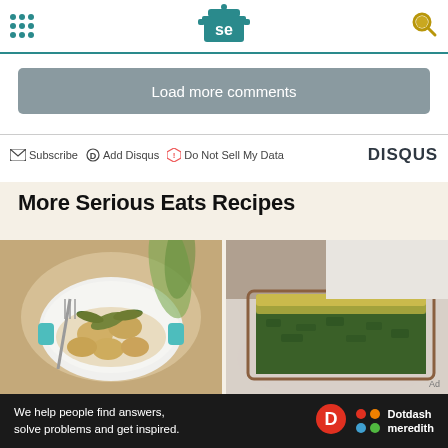Serious Eats header with navigation dots, SE logo, and search icon
Load more comments
Subscribe  Add Disqus  Do Not Sell My Data  DISQUS
More Serious Eats Recipes
[Figure (photo): Two food photos side by side: left shows gnocchi in a bowl with sage butter sauce and a fork; right shows a slice of spinach frittata or baked dish on a plate]
We help people find answers, solve problems and get inspired.  Dotdash meredith